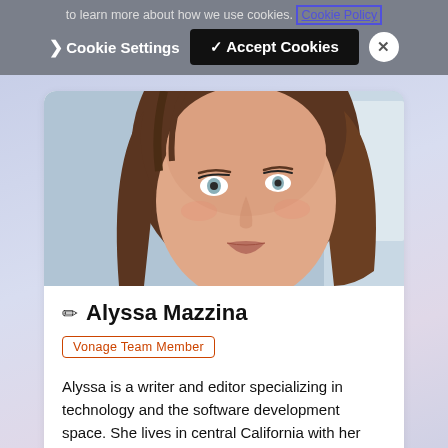to learn more about how we use cookies. Cookie Policy
❯ Cookie Settings   ✓ Accept Cookies   ✕
[Figure (photo): Close-up photo of Alyssa Mazzina, a woman with brown hair and blue-grey eyes, looking at the camera with a slight smile.]
Alyssa Mazzina
Vonage Team Member
Alyssa is a writer and editor specializing in technology and the software development space. She lives in central California with her husband, kids, and three rescue dogs.